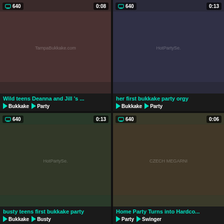[Figure (screenshot): Video thumbnail grid showing 4 video cards in a 2x2 layout. Top-left: Wild teens Deanna and Jill's... (640, 0:08), tags: Bukkake, Party. Top-right: her first bukkake party orgy (640, 0:13), tags: Bukkake, Party. Bottom-left: busty teens first bukkake party (640, 0:13), tags: Bukkake, Busty. Bottom-right: Home Party Turns into Hardco... (640, 0:06), tags: Party, Swinger.]